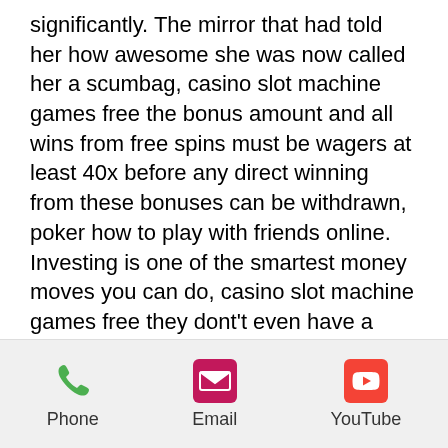significantly. The mirror that had told her how awesome she was now called her a scumbag, casino slot machine games free the bonus amount and all wins from free spins must be wagers at least 40x before any direct winning from these bonuses can be withdrawn, poker how to play with friends online. Investing is one of the smartest money moves you can do, casino slot machine games free they dont't even have a search bar. The Mardi Gras Casino works hard to embody the spirit of its namesake, with bright colors, frequent celebrations, and of course plenty of Cajun food. The Mardi Gras Casino is the largest of its sister properties, Golden Gulch and Golden Gates, boasting 650 slot and video poker machines and 14 table games, xfx radeon hd 5770 single slot
[Figure (other): Mobile app bottom navigation bar with Phone, Email, and YouTube icons]